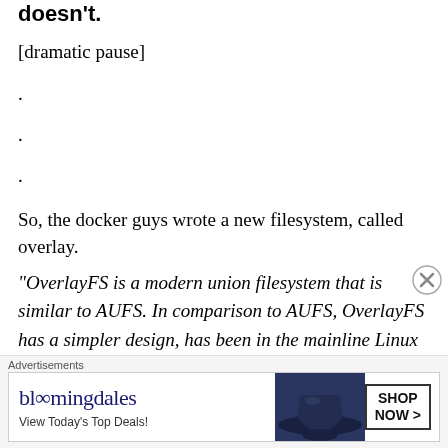doesn't.
[dramatic pause]
.
.
.
So, the docker guys wrote a new filesystem, called overlay.
“OverlayFS is a modern union filesystem that is similar to AUFS. In comparison to AUFS, OverlayFS has a simpler design, has been in the mainline Linux kernel since
Advertisements
[Figure (other): Bloomingdale's advertisement banner with hat image and 'View Today's Top Deals!' text and 'SHOP NOW >' button]